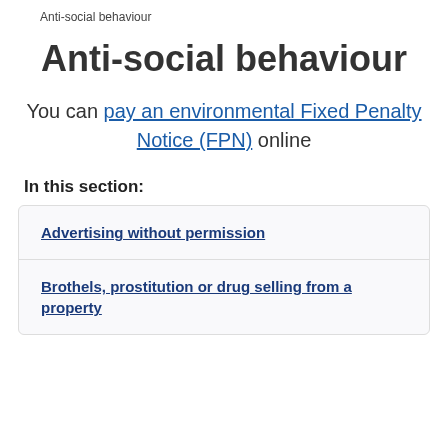Anti-social behaviour
Anti-social behaviour
You can pay an environmental Fixed Penalty Notice (FPN) online
In this section:
Advertising without permission
Brothels, prostitution or drug selling from a property